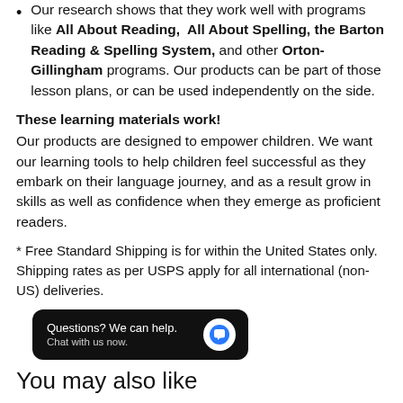Our research shows that they work well with programs like All About Reading, All About Spelling, the Barton Reading & Spelling System, and other Orton-Gillingham programs. Our products can be part of those lesson plans, or can be used independently on the side.
These learning materials work!
Our products are designed to empower children. We want our learning tools to help children feel successful as they embark on their language journey, and as a result grow in skills as well as confidence when they emerge as proficient readers.
* Free Standard Shipping is for within the United States only. Shipping rates as per USPS apply for all international (non-US) deliveries.
[Figure (screenshot): Chat widget with black background showing 'Questions? We can help. Chat with us now.' text and a blue speech bubble icon.]
You may also like